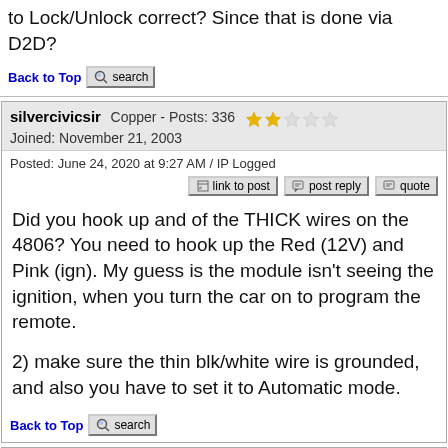to Lock/Unlock correct? Since that is done via D2D?
Back to Top search
silvercivicsir  Copper - Posts: 336  ★★☆☆☆
Joined: November 21, 2003
Posted: June 24, 2020 at 9:27 AM / IP Logged
link to post  post reply  quote
Did you hook up and of the THICK wires on the 4806? You need to hook up the Red (12V) and Pink (ign). My guess is the module isn't seeing the ignition, when you turn the car on to program the remote.

2) make sure the thin blk/white wire is grounded, and also you have to set it to Automatic mode.
Back to Top search
still in school  Member - Posts: 21  ★☆☆☆☆